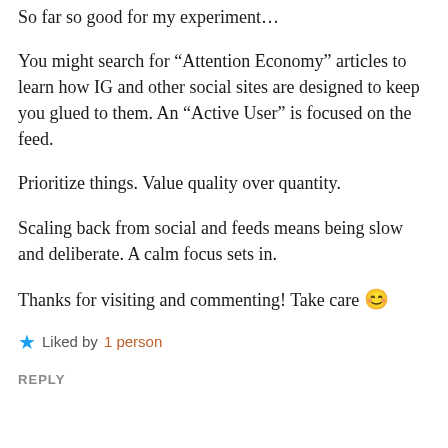So far so good for my experiment…
You might search for “Attention Economy” articles to learn how IG and other social sites are designed to keep you glued to them. An “Active User” is focused on the feed.
Prioritize things. Value quality over quantity.
Scaling back from social and feeds means being slow and deliberate. A calm focus sets in.
Thanks for visiting and commenting! Take care 😊
★ Liked by 1 person
REPLY